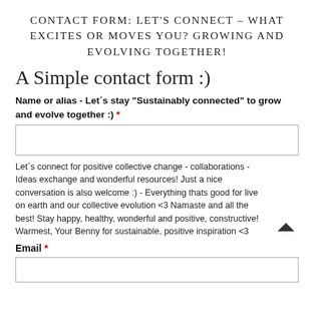CONTACT FORM: LET'S CONNECT – WHAT EXCITES OR MOVES YOU? GROWING AND EVOLVING TOGETHER!
A Simple contact form :)
Name or alias - Let´s stay "Sustainably connected" to grow and evolve together :) *
Let´s connect for positive collective change - collaborations - Ideas exchange and wonderful resources! Just a nice conversation is also welcome :) - Everything thats good for live on earth and our collective evolution <3 Namaste and all the best! Stay happy, healthy, wonderful and positive, constructive! Warmest, Your Benny for sustainable, positive inspiration <3
Email *